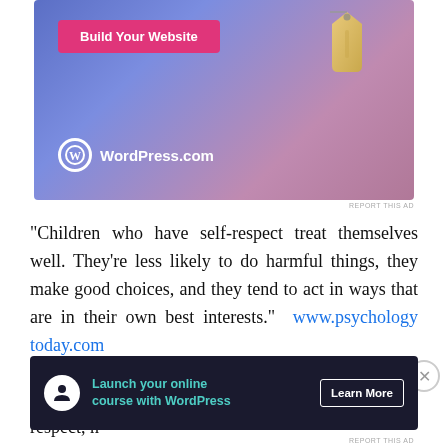[Figure (screenshot): WordPress.com advertisement banner with blue-purple gradient background, 'Build Your Website' pink button, hanging price tag graphic, and WordPress.com logo in white]
REPORT THIS AD
“Children who have self-respect treat themselves well. They’re less likely to do harmful things, they make good choices, and they tend to act in ways that are in their own best interests.”  www.psychologytoday.com
A child that learns to act with respect at home is more likely to treat others with respect and earn respect, n
Advertisements
[Figure (screenshot): WordPress.com advertisement: dark navy background with person/upload icon, teal text 'Launch your online course with WordPress', and 'Learn More' button]